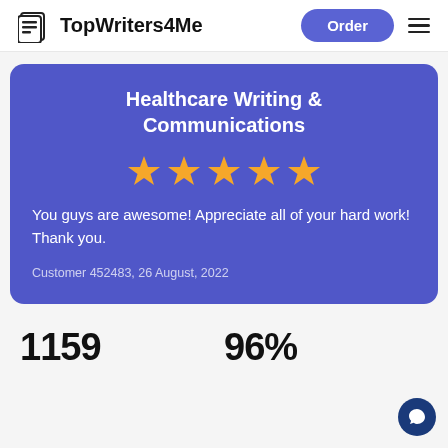TopWriters4Me
Healthcare Writing & Communications
You guys are awesome! Appreciate all of your hard work! Thank you.
Customer 452483, 26 August, 2022
1159
96%